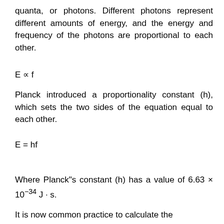quanta, or photons. Different photons represent different amounts of energy, and the energy and frequency of the photons are proportional to each other.
Planck introduced a proportionality constant (h), which sets the two sides of the equation equal to each other.
Where Planck"s constant (h) has a value of 6.63 × 10⁻³⁴ J · s.
It is now common practice to calculate the